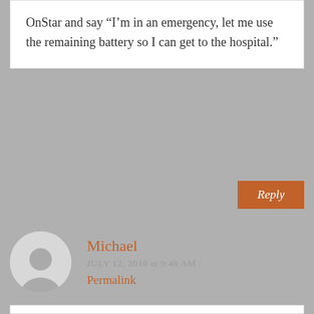OnStar and say “I’m in an emergency, let me use the remaining battery so I can get to the hospital.”
Reply
Michael
July 12, 2010 at 9:48 am | Permalink
My car had OnStar initially. I bought it used but there was some time left on it I believe, but I never renewed. I imagine nobody pays for the initial OnStar usage period explicitly. Maybe they build something into the car’s